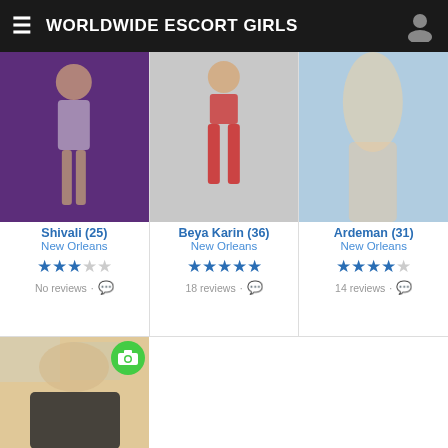WORLDWIDE ESCORT GIRLS
[Figure (photo): Shivali (25) - New Orleans escort profile photo on purple background]
Shivali (25)
New Orleans
3 stars
No reviews
[Figure (photo): Beya Karin (36) - New Orleans escort profile photo in red outfit]
Beya Karin (36)
New Orleans
4.5 stars
18 reviews
[Figure (photo): Ardeman (31) - New Orleans escort profile photo, blonde]
Ardeman (31)
New Orleans
4 stars
14 reviews
[Figure (photo): Fourth escort profile photo, partial view, camera icon badge]